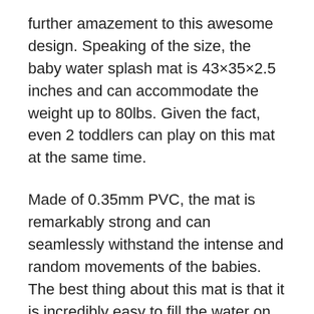further amazement to this awesome design. Speaking of the size, the baby water splash mat is 43×35×2.5 inches and can accommodate the weight up to 80lbs. Given the fact, even 2 toddlers can play on this mat at the same time.
Made of 0.35mm PVC, the mat is remarkably strong and can seamlessly withstand the intense and random movements of the babies. The best thing about this mat is that it is incredibly easy to fill the water on this mat. Just unplug the water plug and you're ready to go.
Why we recommend it: